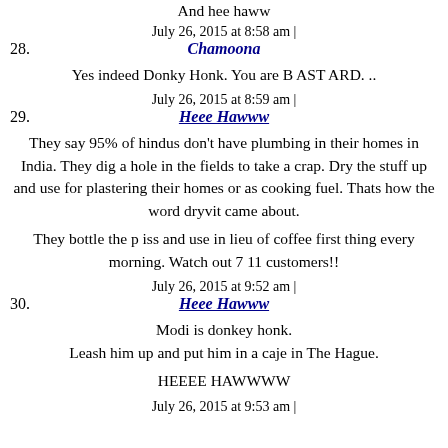And hee haww
July 26, 2015 at 8:58 am |
28. Chamoona
Yes indeed Donky Honk. You are B AST ARD. ..
July 26, 2015 at 8:59 am |
29. Heee Hawww
They say 95% of hindus don't have plumbing in their homes in India. They dig a hole in the fields to take a crap. Dry the stuff up and use for plastering their homes or as cooking fuel. Thats how the word dryvit came about.
They bottle the p iss and use in lieu of coffee first thing every morning. Watch out 7 11 customers!!
July 26, 2015 at 9:52 am |
30. Heee Hawww
Modi is donkey honk.
Leash him up and put him in a caje in The Hague.
HEEEE HAWWWW
July 26, 2015 at 9:53 am |